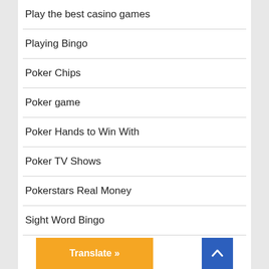Play the best casino games
Playing Bingo
Poker Chips
Poker game
Poker Hands to Win With
Poker TV Shows
Pokerstars Real Money
Sight Word Bingo
Translate »
^